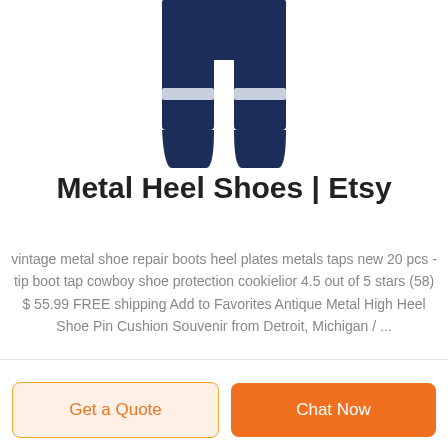[Figure (photo): Navy blue work pants/trousers with reflective silver stripe bands near the lower legs, shown from the waist down against a white background.]
Metal Heel Shoes | Etsy
vintage metal shoe repair boots heel plates metals taps new 20 pcs -tip boot tap cowboy shoe protection cookielior 4.5 out of 5 stars (58) $ 55.99 FREE shipping Add to Favorites Antique Metal High Heel Shoe Pin Cushion Souvenir from Detroit, Michigan / ...
Get a Quote
Chat Now